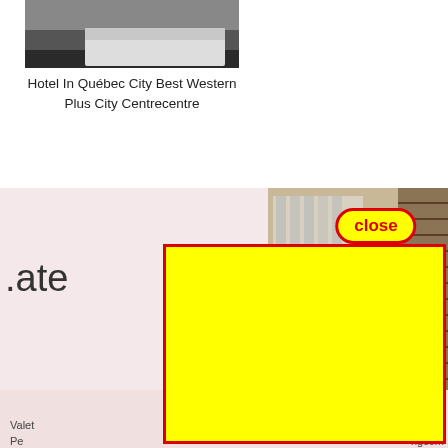[Figure (photo): Top portion of a hotel room photo showing dark bedding/furniture and white bed linen]
Hotel In Québec City Best Western Plus City Centrecentre
[Figure (photo): Hotel room card section with pink background and a room photo showing curtains, brick wall, and wooden bed with pillows on the right side]
.ate
[Figure (screenshot): A bright yellow rectangle with a red border overlaying the page, with a red-bordered oval 'close' button at the top]
Valet
Pe
Toubab
ngcom